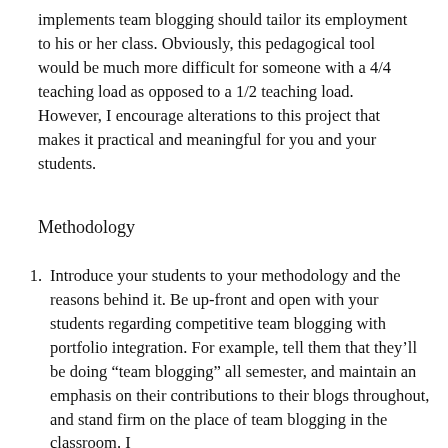implements team blogging should tailor its employment to his or her class. Obviously, this pedagogical tool would be much more difficult for someone with a 4/4 teaching load as opposed to a 1/2 teaching load. However, I encourage alterations to this project that makes it practical and meaningful for you and your students.
Methodology
Introduce your students to your methodology and the reasons behind it. Be up-front and open with your students regarding competitive team blogging with portfolio integration. For example, tell them that they'll be doing “team blogging” all semester, and maintain an emphasis on their contributions to their blogs throughout, and stand firm on the place of team blogging in the classroom. I